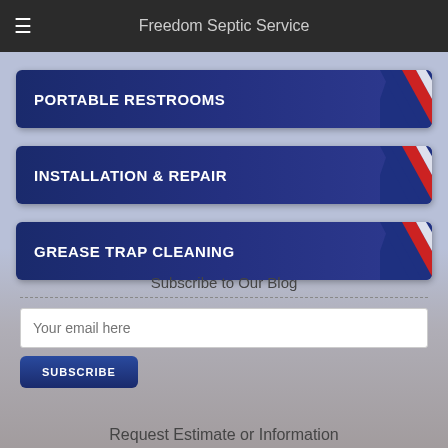Freedom Septic Service
PORTABLE RESTROOMS
INSTALLATION & REPAIR
GREASE TRAP CLEANING
Subscribe to Our Blog
Your email here
SUBSCRIBE
Request Estimate or Information